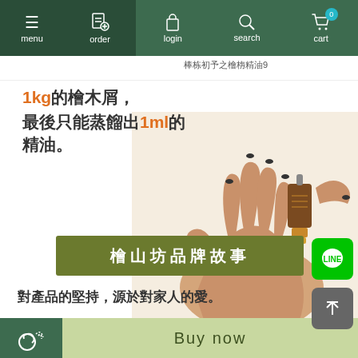menu | order | login | search | cart (0)
[Figure (screenshot): Partial top strip showing green nav bar with menu, order icons and partial Chinese text and thumbnail image]
1kg的檜木屑，最後只能蒸餾出1ml的精油。
[Figure (photo): Hands holding a small amber essential oil bottle, white background]
檜山坊品牌故事
對產品的堅持，源於對家人的愛。
勇哥的父親罹癌又患有慢性肺炎，
Buy now